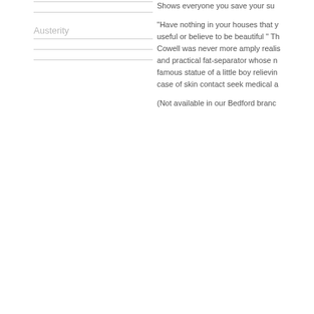Austerity
"Have nothing in your houses that you do not know to be useful or believe to be beautiful " The philosophy of Cowell was never more amply realised than in this handy and practical fat-separator whose many uses include the famous statue of a little boy relieving himself. Warning: in case of skin contact seek medical attention.
(Not available in our Bedford branch)